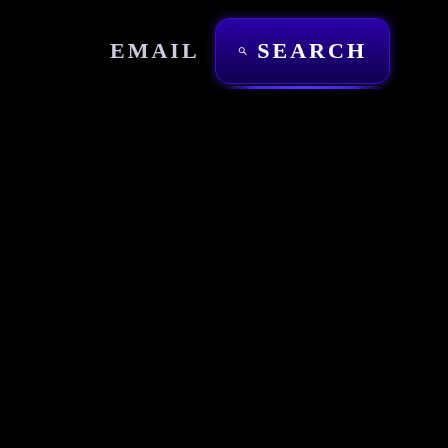EMAIL
[Figure (screenshot): A dark navy/purple button with a magnifying glass icon and the text SEARCH in white uppercase letters, with a blue underline beneath it, on a black background.]